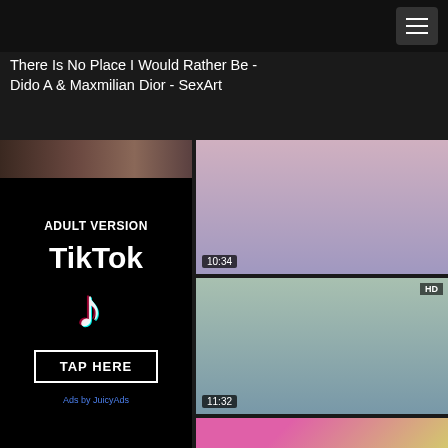There Is No Place I Would Rather Be - Dido A & Maxmilian Dior - SexArt
[Figure (advertisement): Adult TikTok advertisement with black background, ADULT VERSION text, TikTok logo with musical note icon in teal/red, and TAP HERE button. Ads by JuicyAds label at bottom.]
[Figure (screenshot): Anime/hentai video thumbnail with timestamp 10:34]
[Figure (screenshot): Anime/hentai video thumbnail with HD badge and timestamp 11:32]
[Figure (screenshot): Partial photo thumbnail on right side bottom, pink/colorful]
[Figure (advertisement): Partial BROKER advertisement with top-hat logo at bottom left]